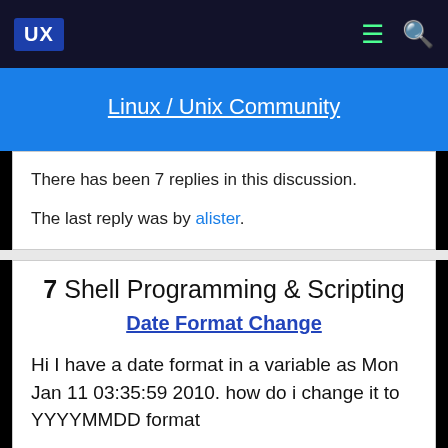UX  Linux / Unix Community
There has been 7 replies in this discussion.
The last reply was by alister.
7  Shell Programming & Scripting
Date Format Change
Hi I have a date format in a variable as Mon Jan 11 03:35:59 2010. how do i change it to YYYYMMDD format